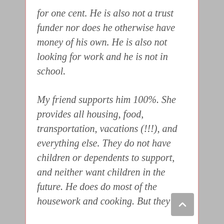for one cent. He is also not a trust funder nor does he otherwise have money of his own. He is also not looking for work and he is not in school.
My friend supports him 100%. She provides all housing, food, transportation, vacations (!!!), and everything else. They do not have children or dependents to support, and neither want children in the future. He does do most of the housework and cooking. But they